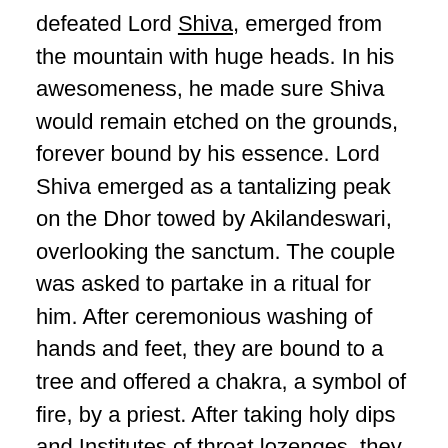defeated Lord Shiva, emerged from the mountain with huge heads. In his awesomeness, he made sure Shiva would remain etched on the grounds, forever bound by his essence. Lord Shiva emerged as a tantalizing peak on the Dhor towed by Akilandeswari, overlooking the sanctum. The couple was asked to partake in a ritual for him. After ceremonious washing of hands and feet, they are bound to a tree and offered a chakra, a symbol of fire, by a priest. After taking holy dips and Institutes of throat lozenges, they proceed to amere 125 years old Nanda Devi temple. Once inside the shrine, the couple is asked to recline on the floor of the shrine for seven days, in a ritual to ward off evil. On the seventh day, they are granted with understanding and their problems are cancelled.